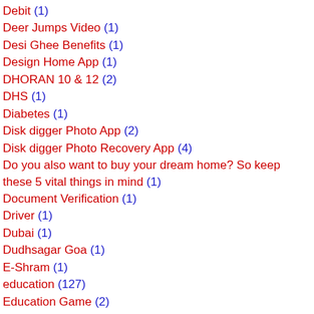Debit (1)
Deer Jumps Video (1)
Desi Ghee Benefits (1)
Design Home App (1)
DHORAN 10 & 12 (2)
DHS (1)
Diabetes (1)
Disk digger Photo App (2)
Disk digger Photo Recovery App (4)
Do you also want to buy your dream home? So keep these 5 vital things in mind (1)
Document Verification (1)
Driver (1)
Dubai (1)
Dudhsagar Goa (1)
E-Shram (1)
education (127)
Education Game (2)
Education News (1)